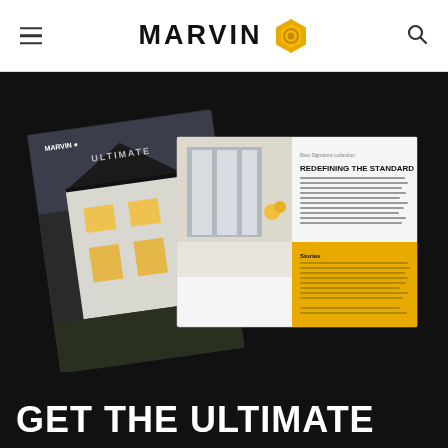MARVIN
[Figure (photo): Two overlapping Marvin catalog brochures shown against a black background. The left brochure shows a modern black and white home exterior at night with large windows. The right (open) brochure shows an interior sunroom scene with text 'REDEFINING THE STANDARD' and a yellow-gold callout section at bottom.]
GET THE ULTIMATE